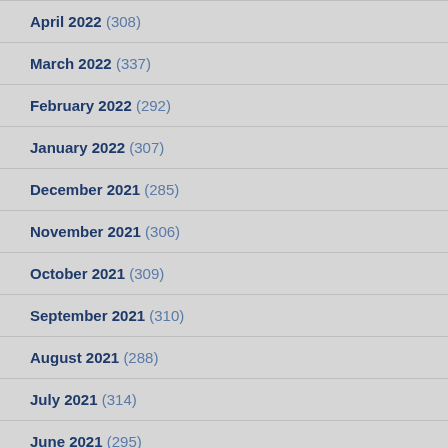April 2022 (308)
March 2022 (337)
February 2022 (292)
January 2022 (307)
December 2021 (285)
November 2021 (306)
October 2021 (309)
September 2021 (310)
August 2021 (288)
July 2021 (314)
June 2021 (295)
May 2021 (280)